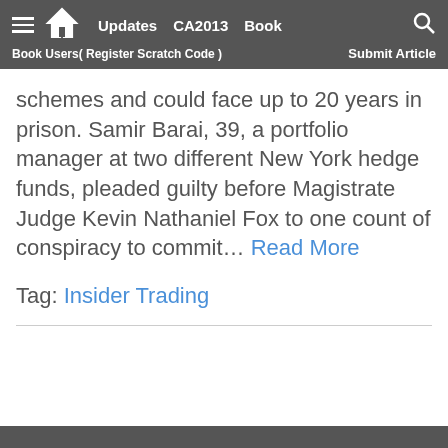Updates  CA2013  Book  Book Users( Register Scratch Code )  Submit Article
schemes and could face up to 20 years in prison. Samir Barai, 39, a portfolio manager at two different New York hedge funds, pleaded guilty before Magistrate Judge Kevin Nathaniel Fox to one count of conspiracy to commit… Read More
Tag: Insider Trading